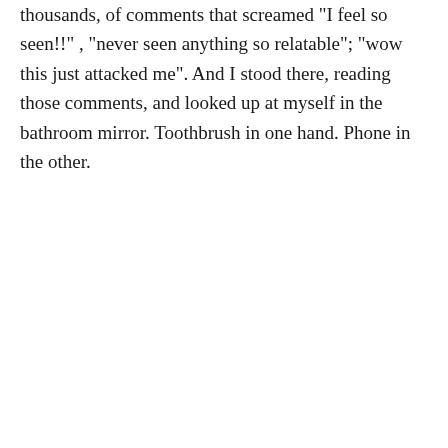thousands, of comments that screamed "I feel so seen!!", "never seen anything so relatable"; "wow this just attacked me". And I stood there, reading those comments, and looked up at myself in the bathroom mirror. Toothbrush in one hand. Phone in the other.